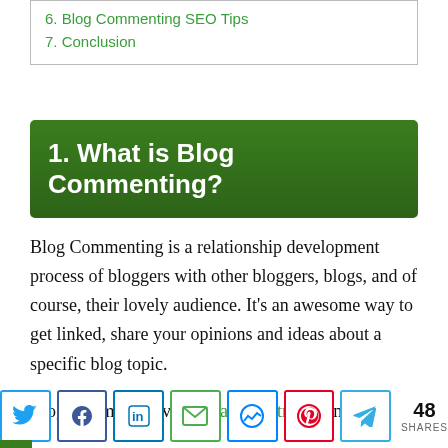6. Blog Commenting SEO Tips
7. Conclusion
1. What is Blog Commenting?
Blog Commenting is a relationship development process of bloggers with other bloggers, blogs, and of course, their lovely audience. It’s an awesome way to get linked, share your opinions and ideas about a specific blog topic.
Blog comments give you targeted traffic and a
[Figure (other): Social share buttons row: Twitter, Facebook, LinkedIn, Email, Messenger, Pinterest, Telegram icons with share count of 48 SHARES]